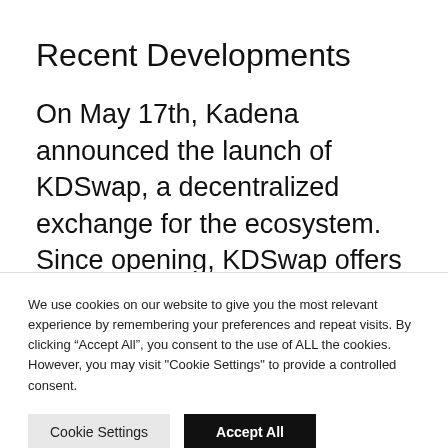Recent Developments
On May 17th, Kadena announced the launch of KDSwap, a decentralized exchange for the ecosystem. Since opening, KDSwap offers a variety of Kadena ecosystem tokens, including $KDS, $KDL, and $HYPE.
We use cookies on our website to give you the most relevant experience by remembering your preferences and repeat visits. By clicking “Accept All”, you consent to the use of ALL the cookies. However, you may visit "Cookie Settings" to provide a controlled consent.
Cookie Settings | Accept All
Read our Cookie Statement